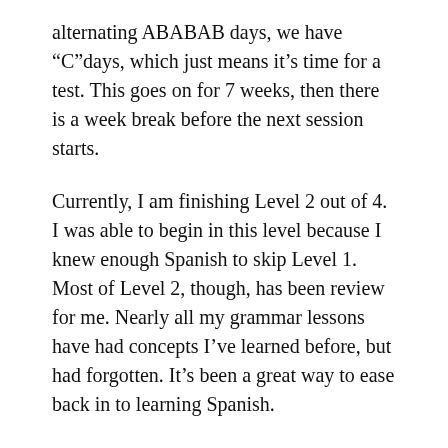alternating ABABAB days, we have “C”days, which just means it’s time for a test. This goes on for 7 weeks, then there is a week break before the next session starts.
Currently, I am finishing Level 2 out of 4. I was able to begin in this level because I knew enough Spanish to skip Level 1. Most of Level 2, though, has been review for me. Nearly all my grammar lessons have had concepts I’ve learned before, but had forgotten. It’s been a great way to ease back in to learning Spanish.
Next session, I will complete Level 3, then when I return to Mexico in January I will complete Level 4. I plan to stay an extra month